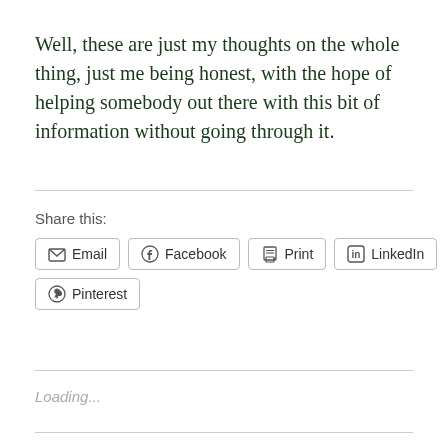Well, these are just my thoughts on the whole thing, just me being honest, with the hope of helping somebody out there with this bit of information without going through it.
Share this:
[Figure (other): Social share buttons: Email, Facebook, Print, LinkedIn, Pinterest]
Loading...